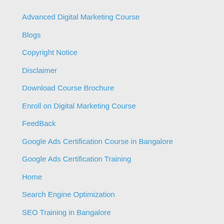Advanced Digital Marketing Course
Blogs
Copyright Notice
Disclaimer
Download Course Brochure
Enroll on Digital Marketing Course
FeedBack
Google Ads Certification Course in Bangalore
Google Ads Certification Training
Home
Search Engine Optimization
SEO Training in Bangalore
Social Media Marketing
Social Media Marketing in Bangalore